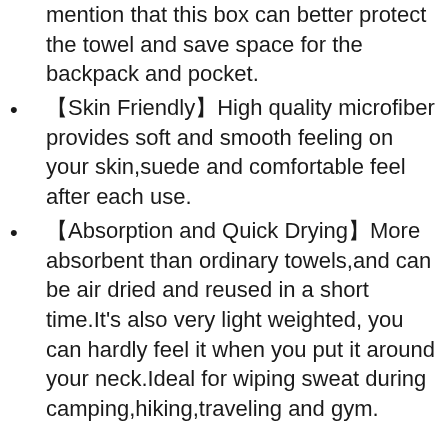mention that this box can better protect the towel and save space for the backpack and pocket.
【Skin Friendly】High quality microfiber provides soft and smooth feeling on your skin,suede and comfortable feel after each use.
【Absorption and Quick Drying】More absorbent than ordinary towels,and can be air dried and reused in a short time.It's also very light weighted, you can hardly feel it when you put it around your neck.Ideal for wiping sweat during camping,hiking,traveling and gym.
Additional Info: